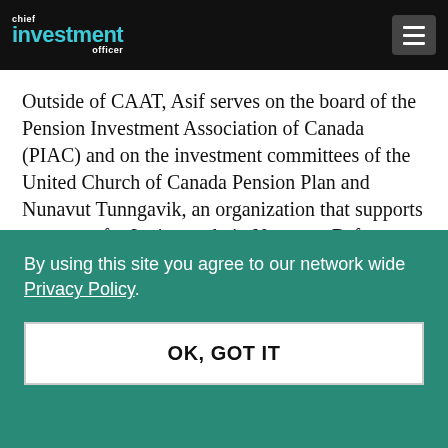chief investment officer
Outside of CAAT, Asif serves on the board of the Pension Investment Association of Canada (PIAC) and on the investment committees of the United Church of Canada Pension Plan and Nunavut Tunngavik, an organization that supports programs for Inuit people in Nunavut. Before CAAT,
By using this site you agree to our network wide Privacy Policy.
OK, GOT IT